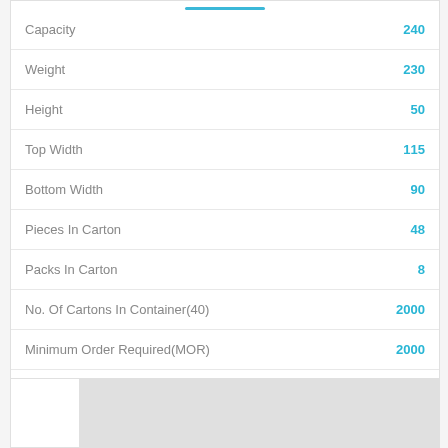| Attribute | Value |
| --- | --- |
| Capacity | 240 |
| Weight | 230 |
| Height | 50 |
| Top Width | 115 |
| Bottom Width | 90 |
| Pieces In Carton | 48 |
| Packs In Carton | 8 |
| No. Of Cartons In Container(40) | 2000 |
| Minimum Order Required(MOR) | 2000 |
Add to cart
[Figure (other): Partially visible product card with white and gray sections at the bottom of the page]